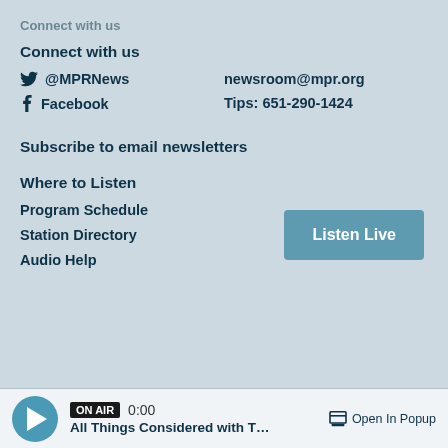Connect with us
@MPRNews
newsroom@mpr.org
Facebook
Tips: 651-290-1424
Subscribe to email newsletters
Where to Listen
Program Schedule
Station Directory
Audio Help
ON AIR 0:00 All Things Considered with T… Open In Popup